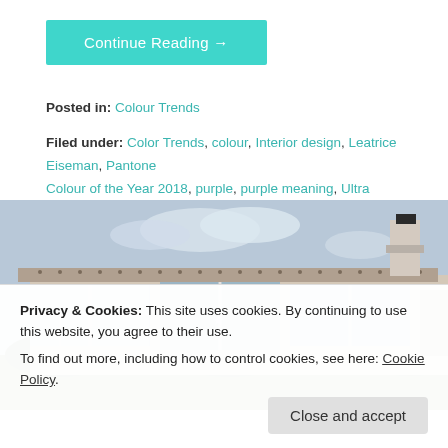Continue Reading →
Posted in: Colour Trends
Filed under: Color Trends, colour, Interior design, Leatrice Eiseman, Pantone Colour of the Year 2018, purple, purple meaning, Ultra Violet
[Figure (photo): Exterior of a single-storey house with large glass sliding doors, white trim, and a chimney on the right side, surrounded by hedges.]
Privacy & Cookies: This site uses cookies. By continuing to use this website, you agree to their use. To find out more, including how to control cookies, see here: Cookie Policy
Close and accept